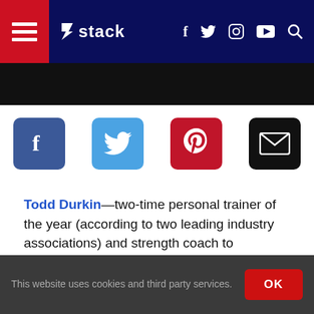Stack — navigation bar with hamburger menu, logo, social icons (f, twitter, instagram, youtube), and search
[Figure (screenshot): Black advertisement banner below navigation]
[Figure (infographic): Social share buttons: Facebook (blue), Twitter (light blue), Pinterest (red), Email (black)]
Todd Durkin—two-time personal trainer of the year (according to two leading industry associations) and strength coach to LaDainian Tomlinson, Reggie Bush and dozens of other professional football and baseball players — recently released TD Performance, a set of seven instructional training DVDs. Two of the seven discs focus
This website uses cookies and third party services. OK